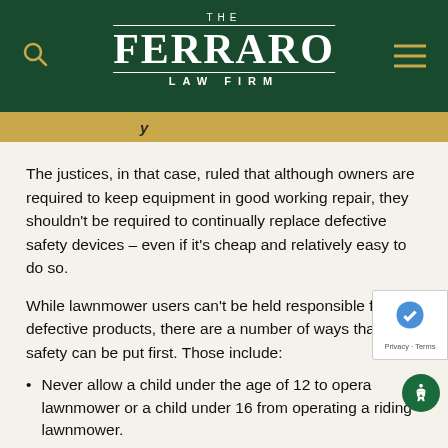THE FERRARO LAW FIRM
The justices, in that case, ruled that although owners are required to keep equipment in good working repair, they shouldn't be required to continually replace defective safety devices – even if it's cheap and relatively easy to do so.
While lawnmower users can't be held responsible for defective products, there are a number of ways that safety can be put first. Those include:
Never allow a child under the age of 12 to operate a lawnmower or a child under 16 from operating a riding lawnmower.
Never allow children to passengers on ride-on lawnmowers.